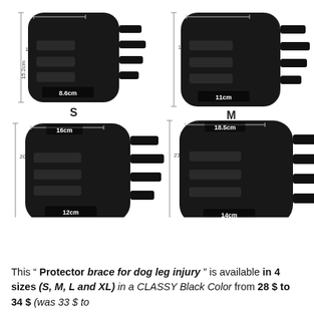[Figure (photo): Four dog leg brace/protector images showing sizes S, M, L, XL with dimensions. S: 15.2cm height, 8.6cm width. M: 18.3cm height, 11cm width. L: 20.5cm height, 12cm width. XL: 23.5cm height, 14cm width. Top width S: 8.6cm, M: 11cm, L: 16cm, XL: 18.5cm. All braces are black with velcro straps.]
This " Protector brace for dog leg injury " is available in 4 sizes (S, M, L and XL) in a CLASSY Black Color from 28 $ to 34 $ (was 33 $ to